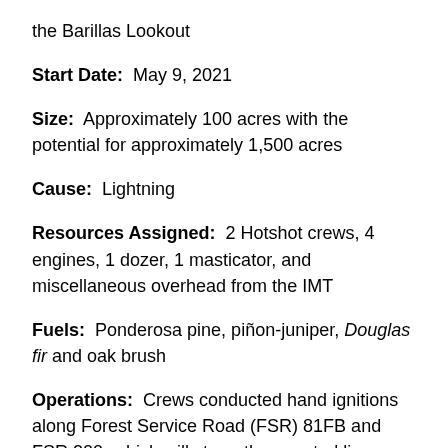the Barillas Lookout
Start Date:  May 9, 2021
Size:  Approximately 100 acres with the potential for approximately 1,500 acres
Cause:  Lightning
Resources Assigned:  2 Hotshot crews, 4 engines, 1 dozer, 1 masticator, and miscellaneous overhead from the IMT
Fuels:  Ponderosa pine, piñon-juniper, Douglas fir and oak brush
Operations:  Crews conducted hand ignitions along Forest Service Road (FSR) 81FB and FSR 200, which will strengthen control lines. The crews also continue ongoing